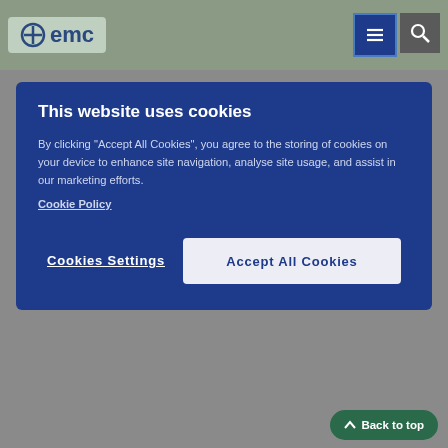emc
This website uses cookies
By clicking "Accept All Cookies", you agree to the storing of cookies on your device to enhance site navigation, analyse site usage, and assist in our marketing efforts. Cookie Policy
examples are provided below:
• Itraconazole, a potent CYP3A4 inhibitor, administered 200 mg orally for five days, increased the AUC of oral oxycodone. On average, the AUC was approximately 2.4 times higher (range 1.5 - 3.4).
• Voriconazole, a CYP3A4 inhibitor, administered 200 mg twice-daily for four days (400 mg given as first two doses), increased the AUC of oral oxycodone. On average, the AUC was approximately 3.6 times higher (range 2.7 - 5.6).
• Telithromycin, a CYP3A4 inhibitor, administered 800 mg orally for four days, increased the AUC of oral oxycodone. On average, th approximately 1.8 times higher (range 1.3 - 2.3).